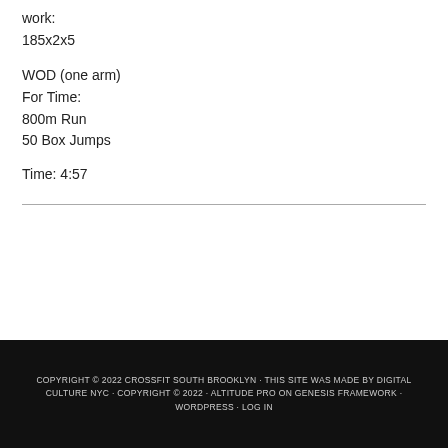work:
185x2x5
WOD (one arm)
For Time:
800m Run
50 Box Jumps
Time: 4:57
COPYRIGHT © 2022 CROSSFIT SOUTH BROOKLYN · THIS SITE WAS MADE BY DIGITAL CULTURE NYC · COPYRIGHT © 2022 · ALTITUDE PRO ON GENESIS FRAMEWORK · WORDPRESS · LOG IN